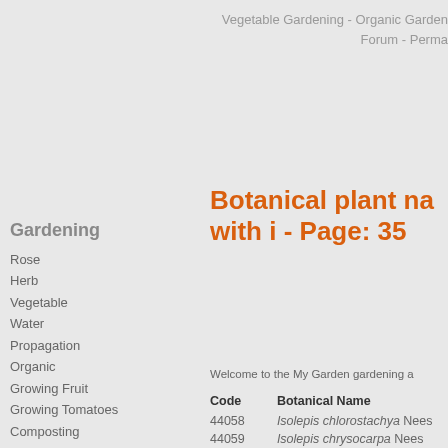Vegetable Gardening - Organic Garden Forum  - Perma
Botanical plant na with i - Page: 35
Gardening
Rose
Herb
Vegetable
Water
Propagation
Organic
Growing Fruit
Growing Tomatoes
Composting
Soil
All about Sheds
Container
Hydroponics
Flower
Lawn S...
Welcome to the My Garden gardening a
| Code | Botanical Name |
| --- | --- |
| 44058 | Isolepis chlorostachya Nees |
| 44059 | Isolepis chrysocarpa Nees |
| 44060 | Isolepis collina Kunth |
| 44061 | Isolepis commutata Nees |
| 44062 | Isolepis compressa Nees |